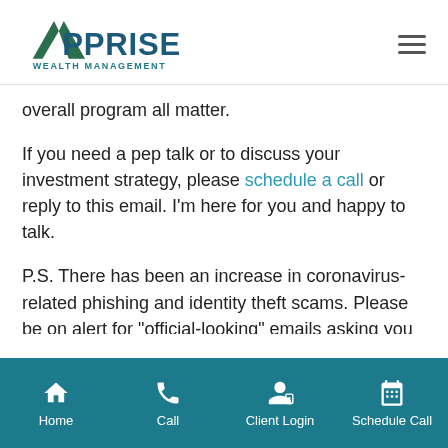Apprise Wealth Management
overall program all matter.
If you need a pep talk or to discuss your investment strategy, please schedule a call or reply to this email. I'm here for you and happy to talk.
P.S. There has been an increase in coronavirus-related phishing and identity theft scams. Please be on alert for “official-looking” emails asking you to
Home  Call  Client Login  Schedule Call